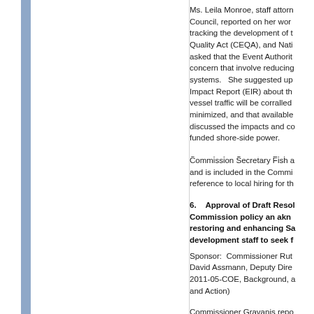Ms. Leila Monroe, staff attorney, Council, reported on her work tracking the development of the Quality Act (CEQA), and Nati asked that the Event Authorit concern that involve reducing systems.   She suggested up Impact Report (EIR) about th vessel traffic will be corralled minimized, and that available discussed the impacts and co funded shore-side power.
Commission Secretary Fish a and is included in the Commi reference to local hiring for th
6.   Approval of Draft Resol Commission policy an ackr restoring and enhancing Sa development staff to seek f
Sponsor:  Commissioner Rut David Assmann, Deputy Dire 2011-05-COE, Background, a and Action)
Commissioner Gravanis repo were reviewed by the Commi